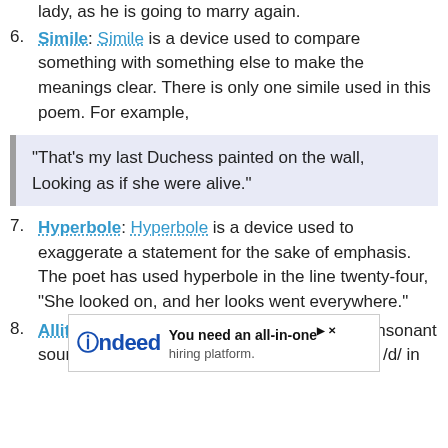(continuation) ...last lady, as he is going to marry again.
6. Simile: Simile is a device used to compare something with something else to make the meanings clear. There is only one simile used in this poem. For example,
“That’s my last Duchess painted on the wall, Looking as if she were alive.”
7. Hyperbole: Hyperbole is a device used to exaggerate a statement for the sake of emphasis. The poet has used hyperbole in the line twenty-four, “She looked on, and her looks went everywhere.”
8. Alliteration: Alliteration is the repetition of consonant sounds in the same line such as the sound of /d/ in
[Figure (other): Advertisement banner for Indeed: 'You need an all-in-one hiring platform.']